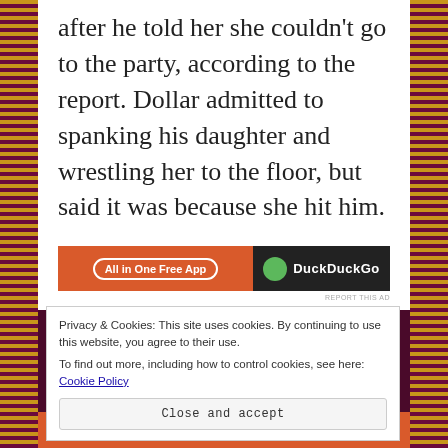after he told her she couldn't go to the party, according to the report. Dollar admitted to spanking his daughter and wrestling her to the floor, but said it was because she hit him.
[Figure (other): Advertisement banner for DuckDuckGo 'All in One Free App' showing an orange section with button and dark section with DuckDuckGo branding]
Privacy & Cookies: This site uses cookies. By continuing to use this website, you agree to their use.
To find out more, including how to control cookies, see here: Cookie Policy
Close and accept
with more privacy